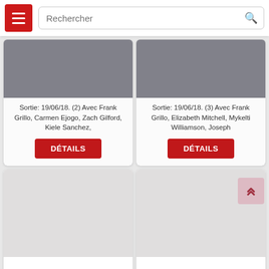[Figure (screenshot): Mobile app navigation bar with red hamburger menu button and search field labeled 'Rechercher' with magnifying glass icon]
Sortie: 19/06/18. (2) Avec Frank Grillo, Carmen Ejogo, Zach Gilford, Kiele Sanchez,
DÉTAILS
Sortie: 19/06/18. (3) Avec Frank Grillo, Elizabeth Mitchell, Mykelti Williamson, Joseph
DÉTAILS
[Figure (photo): Movie poster placeholder for American Nightmare 4 : Les Origines]
American Nightmare 4 : Les Origines
[Figure (photo): Movie poster placeholder for American Nightmare 5 : Sans limites]
American Nightmare 5 : Sans limites